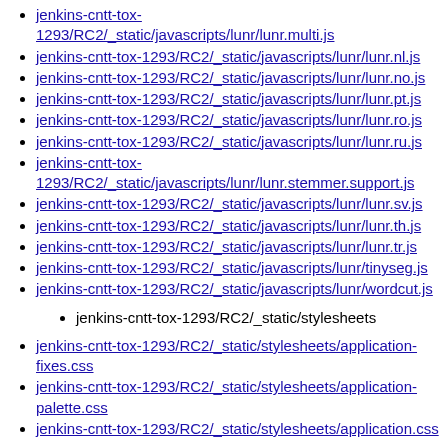jenkins-cntt-tox-1293/RC2/_static/javascripts/lunr/lunr.multi.js
jenkins-cntt-tox-1293/RC2/_static/javascripts/lunr/lunr.nl.js
jenkins-cntt-tox-1293/RC2/_static/javascripts/lunr/lunr.no.js
jenkins-cntt-tox-1293/RC2/_static/javascripts/lunr/lunr.pt.js
jenkins-cntt-tox-1293/RC2/_static/javascripts/lunr/lunr.ro.js
jenkins-cntt-tox-1293/RC2/_static/javascripts/lunr/lunr.ru.js
jenkins-cntt-tox-1293/RC2/_static/javascripts/lunr/lunr.stemmer.support.js
jenkins-cntt-tox-1293/RC2/_static/javascripts/lunr/lunr.sv.js
jenkins-cntt-tox-1293/RC2/_static/javascripts/lunr/lunr.th.js
jenkins-cntt-tox-1293/RC2/_static/javascripts/lunr/lunr.tr.js
jenkins-cntt-tox-1293/RC2/_static/javascripts/lunr/tinyseg.js
jenkins-cntt-tox-1293/RC2/_static/javascripts/lunr/wordcut.js
jenkins-cntt-tox-1293/RC2/_static/stylesheets
jenkins-cntt-tox-1293/RC2/_static/stylesheets/application-fixes.css
jenkins-cntt-tox-1293/RC2/_static/stylesheets/application-palette.css
jenkins-cntt-tox-1293/RC2/_static/stylesheets/application.css
jenkins-cntt-tox-1293/RC2/chapters
jenkins-cntt-tox-1293/RC2/chapters/chapter01.html
jenkins-cntt-tox-1293/RC2/chapters/chapter02.html